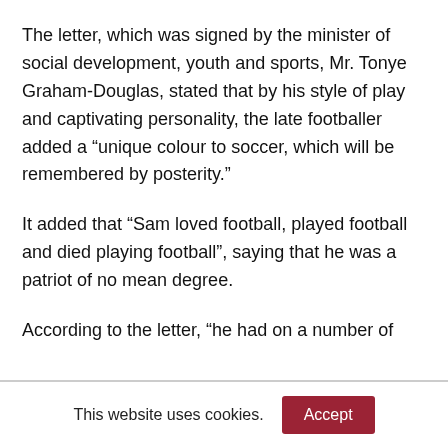The letter, which was signed by the minister of social development, youth and sports, Mr. Tonye Graham-Douglas, stated that by his style of play and captivating personality, the late footballer added a “unique colour to soccer, which will be remembered by posterity.”
It added that “Sam loved football, played football and died playing football”, saying that he was a patriot of no mean degree.
According to the letter, “he had on a number of
This website uses cookies.
Accept